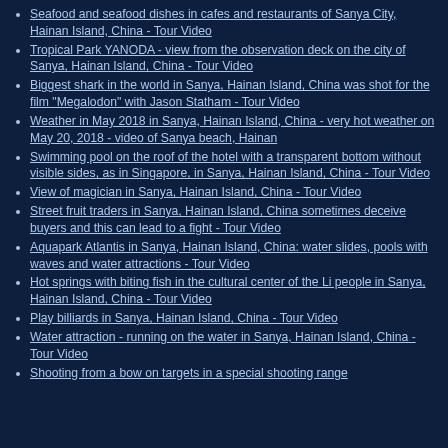Seafood and seafood dishes in cafes and restaurants of Sanya City, Hainan Island, China - Tour Video
Tropical Park YANODA - view from the observation deck on the city of Sanya, Hainan Island, China - Tour Video
Biggest shark in the world in Sanya, Hainan Island, China was shot for the film "Megalodon" with Jason Statham - Tour Video
Weather in May 2018 in Sanya, Hainan Island, China - very hot weather on May 20, 2018 - video of Sanya beach, Hainan
Swimming pool on the roof of the hotel with a transparent bottom without visible sides, as in Singapore, in Sanya, Hainan Island, China - Tour Video
View of magician in Sanya, Hainan Island, China - Tour Video
Street fruit traders in Sanya, Hainan Island, China sometimes deceive buyers and this can lead to a fight - Tour Video
Aquapark Atlantis in Sanya, Hainan Island, China: water slides, pools with waves and water attractions - Tour Video
Hot springs with biting fish in the cultural center of the Li people in Sanya, Hainan Island, China - Tour Video
Play billiards in Sanya, Hainan Island, China - Tour Video
Water attraction - running on the water in Sanya, Hainan Island, China - Tour Video
Shooting from a bow on targets in a special shooting range